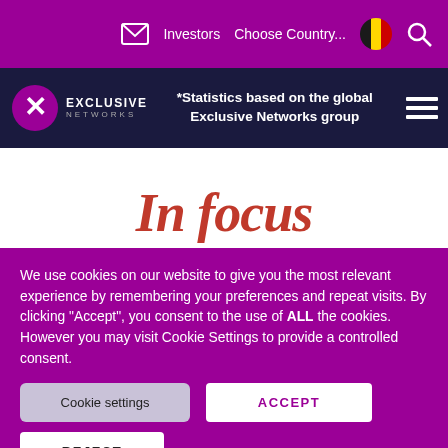Investors  Choose Country...  [flag icon]  [search icon]
[Figure (logo): Exclusive Networks logo with stylized icon and text, alongside notice: *Statistics based on the global Exclusive Networks group]
*Statistics based on the global Exclusive Networks group
In focus
We use cookies on our website to give you the most relevant experience by remembering your preferences and repeat visits. By clicking “Accept”, you consent to the use of ALL the cookies. However you may visit Cookie Settings to provide a controlled consent.
Cookie settings
ACCEPT
REJECT